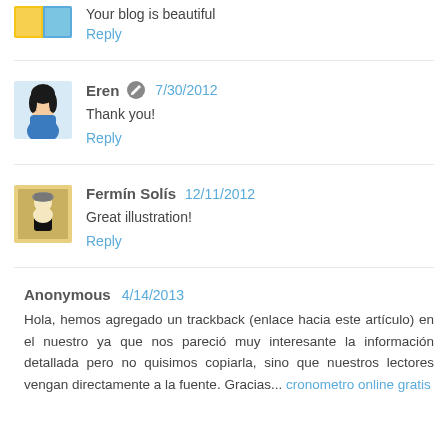Your blog is beautiful
Reply
Eren 7/30/2012
Thank you!
Reply
Fermín Solís 12/11/2012
Great illustration!
Reply
Anonymous 4/14/2013
Hola, hemos agregado un trackback (enlace hacia este artículo) en el nuestro ya que nos pareció muy interesante la información detallada pero no quisimos copiarla, sino que nuestros lectores vengan directamente a la fuente. Gracias... cronometro online gratis